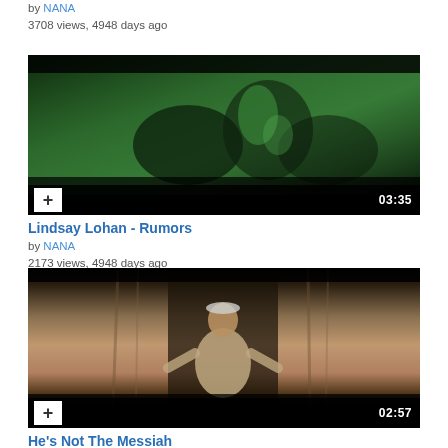by NANA
3708 views, 4948 days ago
[Figure (screenshot): Video thumbnail for Lindsay Lohan - Rumors, green-tinted music video scene, duration 03:35]
Lindsay Lohan - Rumors
by NANA
2173 views, 4948 days ago
[Figure (screenshot): Video thumbnail for He's Not The Messiah, man standing in doorway of rustic building, duration 02:57]
He's Not The Messiah
by moxy
3092 views, 4959 days ago